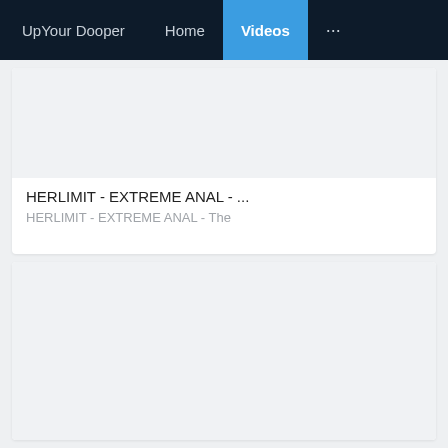UpYour Dooper   Home   Videos   ...
HERLIMIT - EXTREME ANAL - ...
HERLIMIT - EXTREME ANAL - The
[Figure (screenshot): Second video card thumbnail area, blank/grey]